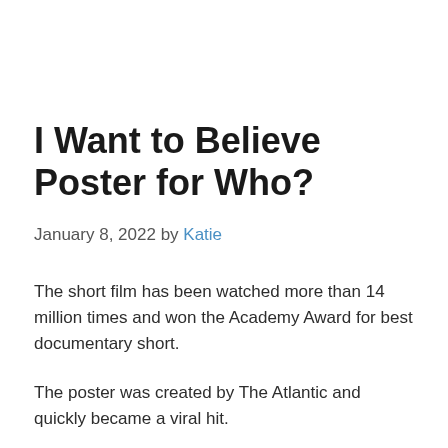I Want to Believe Poster for Who?
January 8, 2022 by Katie
The short film has been watched more than 14 million times and won the Academy Award for best documentary short.
The poster was created by The Atlantic and quickly became a viral hit.